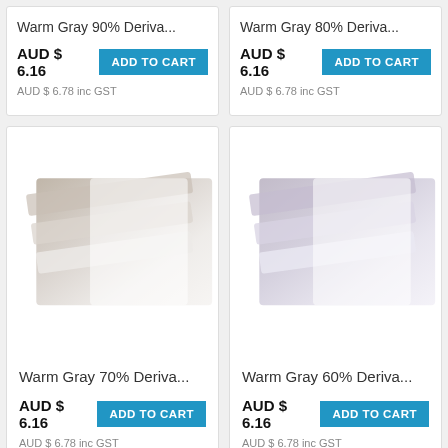Warm Gray 90% Deriva...
AUD $ 6.16  ADD TO CART
AUD $ 6.78 inc GST
Warm Gray 80% Deriva...
AUD $ 6.16  ADD TO CART
AUD $ 6.78 inc GST
[Figure (photo): Warm Gray 70% Deriva product image showing layered marker strokes in warm gray tones]
Warm Gray 70% Deriva...
AUD $ 6.16  ADD TO CART
AUD $ 6.78 inc GST
[Figure (photo): Warm Gray 60% Deriva product image showing layered marker strokes in cool warm gray tones]
Warm Gray 60% Deriva...
AUD $ 6.16  ADD TO CART
AUD $ 6.78 inc GST